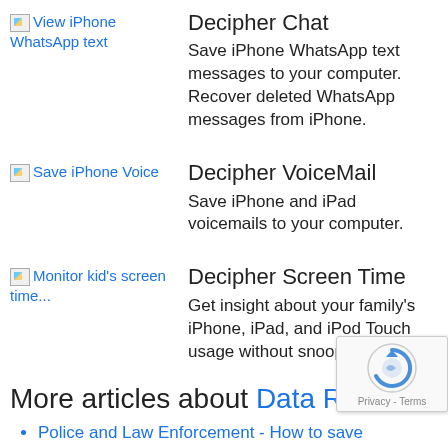Decipher Chat
Save iPhone WhatsApp text messages to your computer. Recover deleted WhatsApp messages from iPhone.
Decipher VoiceMail
Save iPhone and iPad voicemails to your computer.
Decipher Screen Time
Get insight about your family's iPhone, iPad, and iPod Touch usage without snooping.
More articles about Data Recovery
Police and Law Enforcement - How to save and recover deleted SMS data